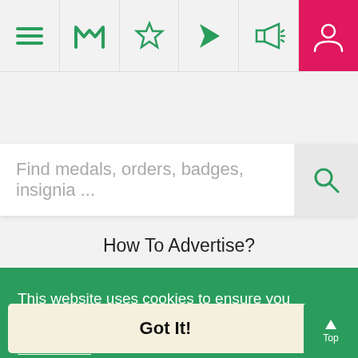[Figure (screenshot): Navigation bar with hamburger menu, M logo, star, navigation arrow, megaphone icons, and active user icon in pink/red background]
[Figure (screenshot): Search bar with placeholder text 'Find medals, orders, badges, insignia ...' and search icon]
What We Believe In
How We Collect Data
How To Advertise?
How To Contribute?
Makers
Our Blog
This website uses cookies to ensure you get the best experience on our website.
Learn More
Got It!
Community Guidelines